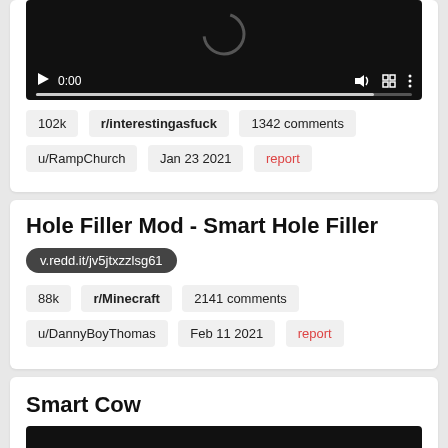[Figure (screenshot): Video player showing 0:00 timestamp with play button, volume, fullscreen, and more controls on dark background with progress bar]
102k
r/interestingasfuck
1342 comments
u/RampChurch
Jan 23 2021
report
Hole Filler Mod - Smart Hole Filler
v.redd.it/jv5jtxzzlsg61
88k
r/Minecraft
2141 comments
u/DannyBoyThomas
Feb 11 2021
report
Smart Cow
[Figure (screenshot): Partial view of a dark video player at the bottom of the page]